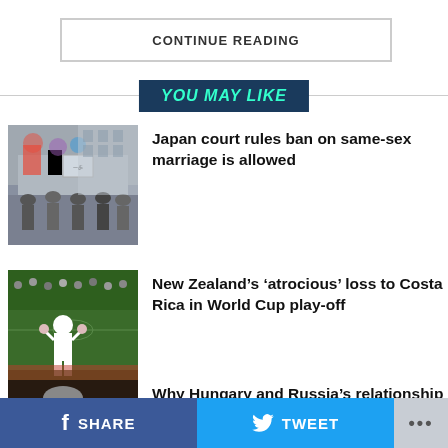CONTINUE READING
YOU MAY LIKE
Japan court rules ban on same-sex marriage is allowed
New Zealand’s ‘atrocious’ loss to Costa Rica in World Cup play-off
Why Hungary and Russia’s relationship could stop the war in Ukraine
SHARE  TWEET  ...